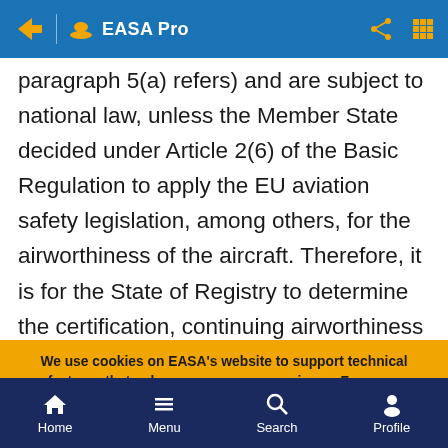EASA Pro
paragraph 5(a) refers) and are subject to national law, unless the Member State decided under Article 2(6) of the Basic Regulation to apply the EU aviation safety legislation, among others, for the airworthiness of the aircraft. Therefore, it is for the State of Registry to determine the certification, continuing airworthiness and operational basis for aircraft
We use cookies on EASA's website to support technical features that enhance your user experience. For more information, see our data protection page. You can enable and disable cookies by selecting the options below.
Mandatory cookies
Analytics
Home  Menu  Search  Profile